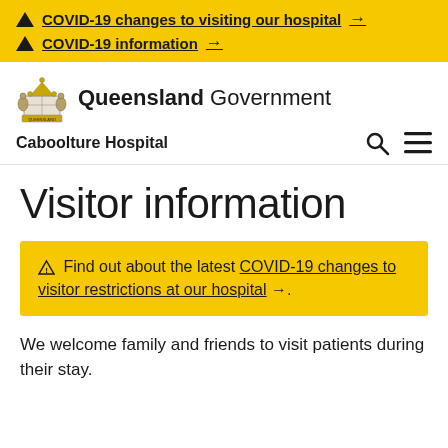⚠ COVID-19 changes to visiting our hospital →
⚠ COVID-19 information →
[Figure (logo): Queensland Government crest logo with text 'Queensland Government' and subheading 'Caboolture Hospital']
Visitor information
⚠ Find out about the latest COVID-19 changes to visitor restrictions at our hospital →.
We welcome family and friends to visit patients during their stay.